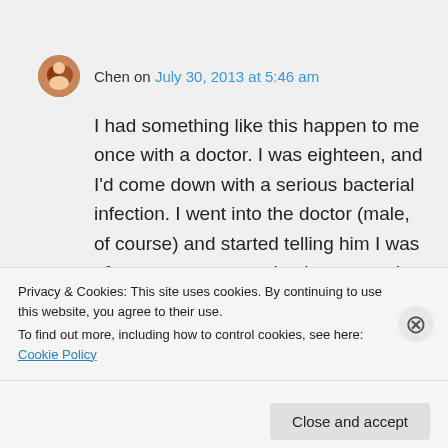Chen on July 30, 2013 at 5:46 am
I had something like this happen to me once with a doctor. I was eighteen, and I'd come down with a serious bacterial infection. I went into the doctor (male, of course) and started telling him I was often nauseous, was having stomach pains, etc. He automatically accused me of being pregnant.
Privacy & Cookies: This site uses cookies. By continuing to use this website, you agree to their use.
To find out more, including how to control cookies, see here: Cookie Policy
Close and accept